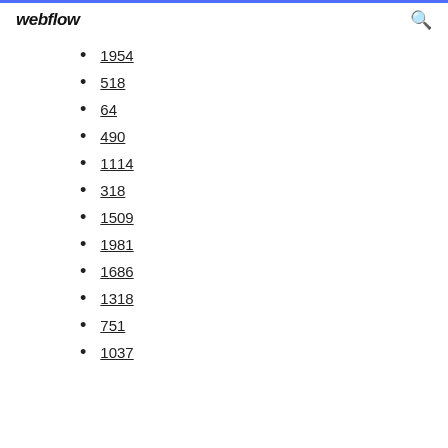webflow
1954
518
64
490
1114
318
1509
1981
1686
1318
751
1037